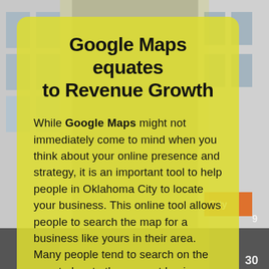[Figure (photo): Urban street-level photo showing building facades, glass windows, yellow and orange signage in the background]
Google Maps equates to Revenue Growth
While Google Maps might not immediately come to mind when you think about your online presence and strategy, it is an important tool to help people in Oklahoma City to locate your business. This online tool allows people to search the map for a business like yours in their area. Many people tend to search on the map to locate the nearest business for what they need. For example, if someone searches for an auto parts store using the map and your store pops up as